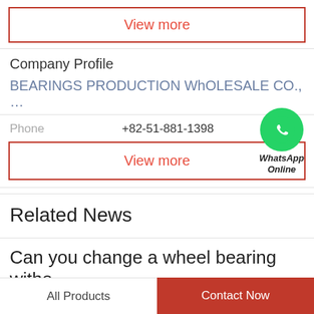View more
Company Profile
BEARINGS PRODUCTION WhOLESALE CO., …
Phone  +82-51-881-1398
[Figure (logo): WhatsApp Online green circle icon with phone handset, labeled WhatsApp Online]
View more
Related News
Can you change a wheel bearing witho...
All Products   Contact Now